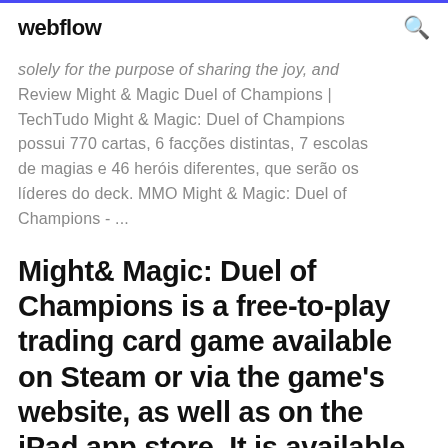webflow
solely for the purpose of sharing the joy, and Review Might & Magic Duel of Champions | TechTudo Might & Magic: Duel of Champions possui 770 cartas, 6 facções distintas, 7 escolas de magias e 46 heróis diferentes, que serão os líderes do deck. MMO Might & Magic: Duel of Champions - ...
Might& Magic: Duel of Champions is a free-to-play trading card game available on Steam or via the game's website, as well as on the iPad app store. It is available for cross-platform